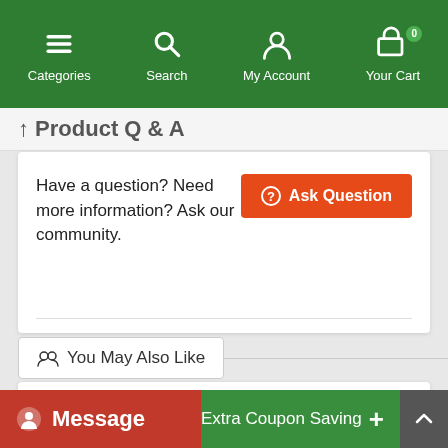Categories  Search  My Account  Your Cart
↑ Product Q & A
Have a question? Need more information? Ask our community.
👥 You May Also Like
Message
Extra Coupon Saving +